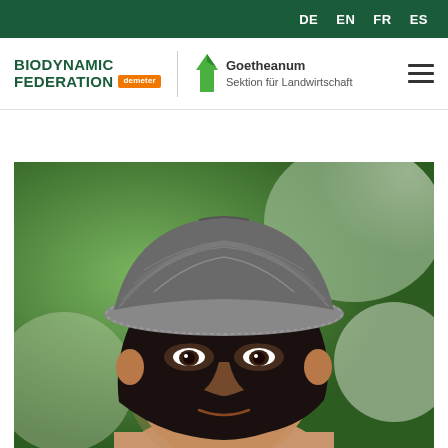DE  EN  FR  ES
[Figure (logo): Biodynamic Federation Demeter logo and Goetheanum Sektion für Landwirtschaft logo with hamburger menu icon]
[Figure (photo): Close-up portrait photo of a person wearing a grey knitted/woven fedora hat, with dark hair, looking at the camera]